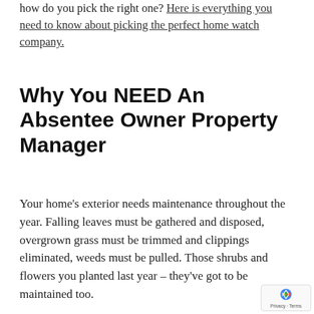how do you pick the right one? Here is everything you need to know about picking the perfect home watch company.
Why You NEED An Absentee Owner Property Manager
Your home's exterior needs maintenance throughout the year. Falling leaves must be gathered and disposed, overgrown grass must be trimmed and clippings eliminated, weeds must be pulled. Those shrubs and flowers you planted last year – they've got to be maintained too.